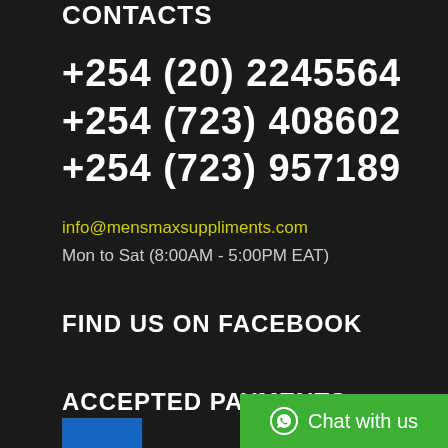CONTACTS
+254 (20) 2245564
+254 (723) 408602
+254 (723) 957189
info@mensmaxsuppliments.com
Mon to Sat (8:00AM - 5:00PM EAT)
FIND US ON FACEBOOK
ACCEPTED PAYMENTS
Chat with us